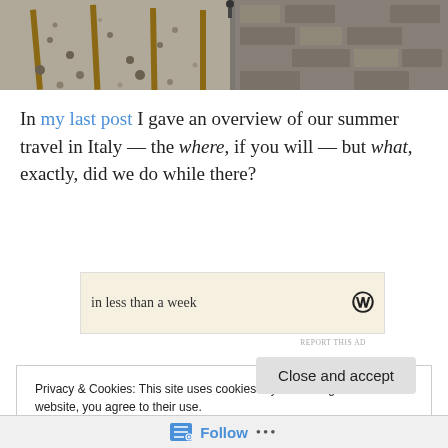[Figure (photo): Photograph of railway tracks with gravel ballast, viewed from above at an angle, showing multiple rails and stones in bright sunlight.]
In my last post I gave an overview of our summer travel in Italy — the where, if you will — but what, exactly, did we do while there?
[Figure (other): Advertisement banner with text 'in less than a week' and a 'W' logo on a cream/tan background.]
REPORT THIS AD
Privacy & Cookies: This site uses cookies. By continuing to use this website, you agree to their use.
To find out more, including how to control cookies, see here: Cookie Policy
Close and accept
Follow